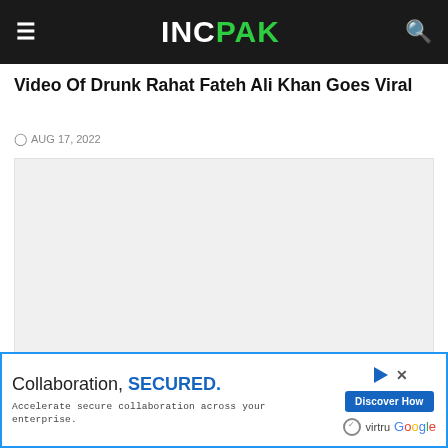INCPAK
Video Of Drunk Rahat Fateh Ali Khan Goes Viral
AUG 17, 2022
[Figure (other): Blank/loading video embed placeholder with a chevron/down button at the bottom left]
Collaboration, SECURED. Accelerate secure collaboration across your enterprise. Discover How virtru Google